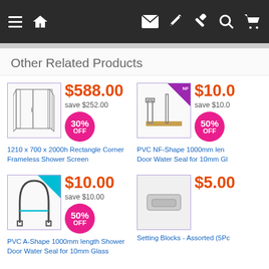[Figure (screenshot): Navigation bar with hamburger menu, home icon, email, edit, hammer, search, and cart icons on dark background]
Other Related Products
[Figure (photo): 1210 x 700 x 2000h Rectangle Corner Frameless Shower Screen product image]
$588.00 save $252.00 30% OFF
1210 x 700 x 2000h Rectangle Corner Frameless Shower Screen
[Figure (photo): PVC NF-Shape 1000mm length Door Water Seal for 10mm Glass product image with NF badge]
$10.0 save $10.0 50% OFF
PVC NF-Shape 1000mm length Door Water Seal for 10mm Gl
[Figure (photo): PVC A-Shape 1000mm length Shower Door Water Seal for 10mm Glass product image]
$10.00 save $10.00 50% OFF
PVC A-Shape 1000mm length Shower Door Water Seal for 10mm Glass
[Figure (photo): Setting Blocks - Assorted (5Pc) product image]
$5.00
Setting Blocks - Assorted (5Pc